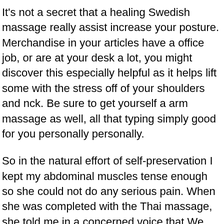It's not a secret that a healing Swedish massage really assist increase your posture. Merchandise in your articles have a office job, or are at your desk a lot, you might discover this especially helpful as it helps lift some with the stress off of your shoulders and nck. Be sure to get yourself a arm massage as well, all that typing simply good for you personally personally.
So in the natural effort of self-preservation I kept my abdominal muscles tense enough so she could not do any serious pain. When she was completed with the Thai massage, she told me in a concerned voice that We real issues in my belly area since I'm so tense in in that respect there. She advised me to see a doctor and returning to her for regular belly interventions.